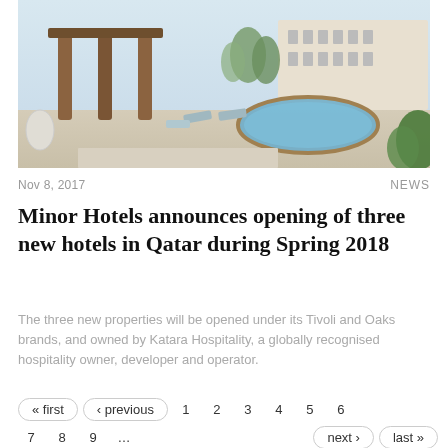[Figure (photo): Hotel outdoor pool and terrace area with wooden columns, lounge chairs, and a large circular pool. Modern Middle Eastern architecture visible in background.]
Nov 8, 2017
NEWS
Minor Hotels announces opening of three new hotels in Qatar during Spring 2018
The three new properties will be opened under its Tivoli and Oaks brands, and owned by Katara Hospitality, a globally recognised hospitality owner, developer and operator.
« first  ‹ previous  1  2  3  4  5  6  7  8  9  …  next ›  last »